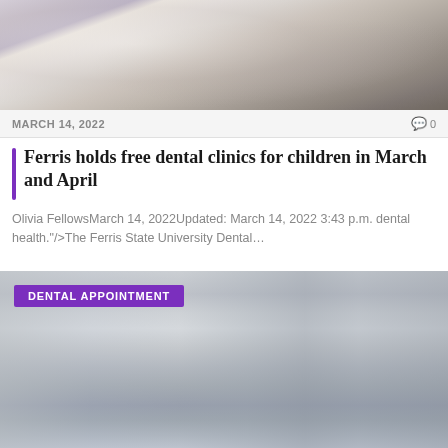[Figure (photo): Photo of dental students/staff in clinical setting, person in white coat writing on clipboard]
MARCH 14, 2022
0
Ferris holds free dental clinics for children in March and April
Olivia FellowsMarch 14, 2022Updated: March 14, 2022 3:43 p.m. dental health."/>The Ferris State University Dental…
[Figure (photo): Photo of dental clinic appointment scene with dental professionals wearing masks and face shields]
DENTAL APPOINTMENT